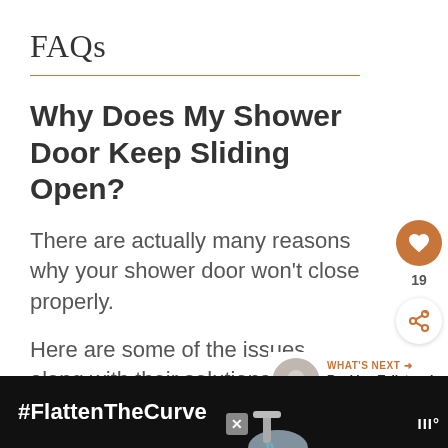FAQs
Why Does My Shower Door Keep Sliding Open?
There are actually many reasons why your shower door won't close properly.
Here are some of the issues, along with their solutions: